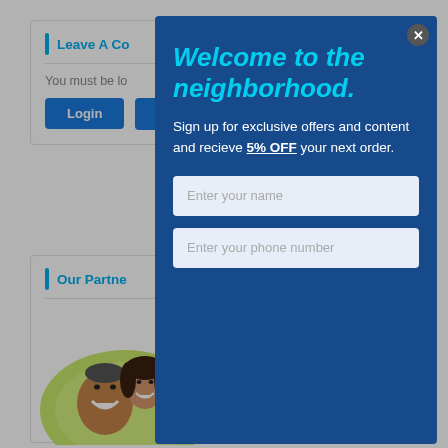Leave A Co
You must be lo
Login
Our Partne
[Figure (photo): Two smiling people, a family photo partially visible on left side]
Welcome to the neighborhood.
Sign up for exclusive offers and content and recieve 5% OFF your next order.
Enter your name
Enter your phone number